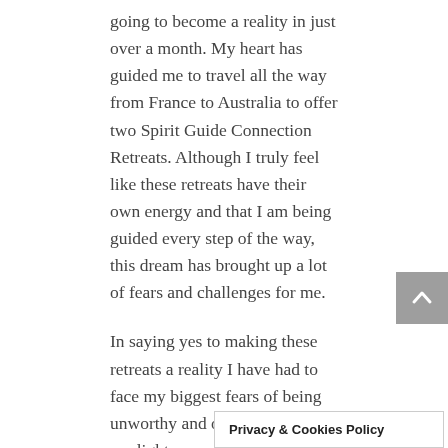going to become a reality in just over a month. My heart has guided me to travel all the way from France to Australia to offer two Spirit Guide Connection Retreats. Although I truly feel like these retreats have their own energy and that I am being guided every step of the way, this dream has brought up a lot of fears and challenges for me.
In saying yes to making these retreats a reality I have had to face my biggest fears of being unworthy and of truly shining my light.
Thanks to Leonie's inspiring guidance I have found the inner strength to ask for help and to embrace all of who I am and what I am here to do.
Privacy & Cookies Policy